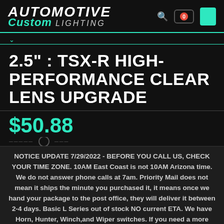AUTOMOTIVE Custom LIGHTING
2.5" : TSX-R HIGH-PERFORMANCE CLEAR LENS UPGRADE
$50.88
NOTICE UPDATE 7/29/2022 - BEFORE YOU CALL US, CHECK YOUR TIME ZONE. 10AM East Coast is not 10AM Arizona time. We do not answer phone calls at 7am. Priority Mail does not mean it ships the minute you purchased it, it means once we hand your package to the post office, they will deliver it between 2-4 days. Basic L Series out of stock NO current ETA. We have Horn, Hunter, Winch,and Wiper switches. If you need a more detailed time line, please call us at 855.259.3724. Dismiss